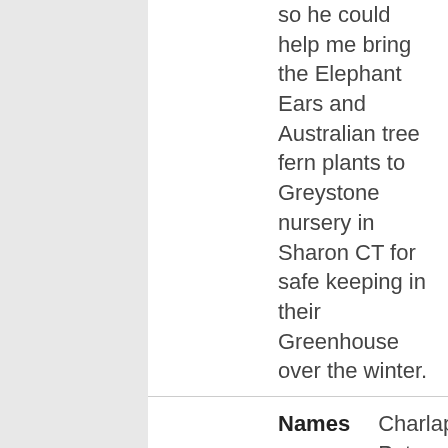so he could help me bring the Elephant Ears and Australian tree fern plants to Greystone nursery in Sharon CT for safe keeping in their Greenhouse over the winter.
| Field | Value |
| --- | --- |
| Names | Charlap, Peter |
| Date | Oct 03, 2016 |
| Field | Value |
| --- | --- |
| Title | Gusto Restaurant 1, Poughkeepsie |